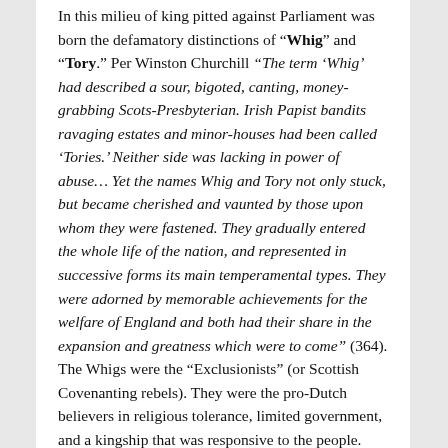In this milieu of king pitted against Parliament was born the defamatory distinctions of "Whig" and "Tory." Per Winston Churchill "The term 'Whig' had described a sour, bigoted, canting, money-grabbing Scots-Presbyterian. Irish Papist bandits ravaging estates and minor-houses had been called 'Tories.' Neither side was lacking in power of abuse… Yet the names Whig and Tory not only stuck, but became cherished and vaunted by those upon whom they were fastened. They gradually entered the whole life of the nation, and represented in successive forms its main temperamental types. They were adorned by memorable achievements for the welfare of England and both had their share in the expansion and greatness which were to come" (364). The Whigs were the "Exclusionists" (or Scottish Covenanting rebels). They were the pro-Dutch believers in religious tolerance, limited government, and a kingship that was responsive to the people. The Tories were the "Anti-Exclusionists" (or Irish outlaws and cattle thieves). They were pro-French and believed in the divine right of kings by